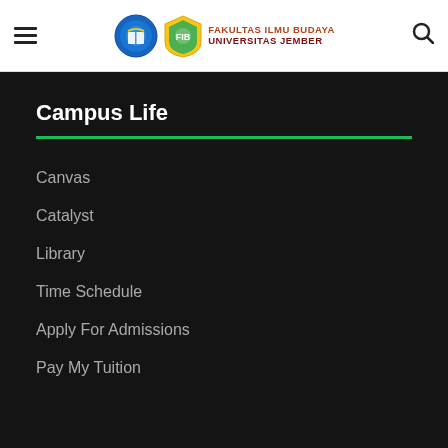[Figure (logo): Fakultas Ilmu Budaya Universitas Jember logo with two emblems and text]
Campus Life
Canvas
Catalyst
Library
Time Schedule
Apply For Admissions
Pay My Tuition